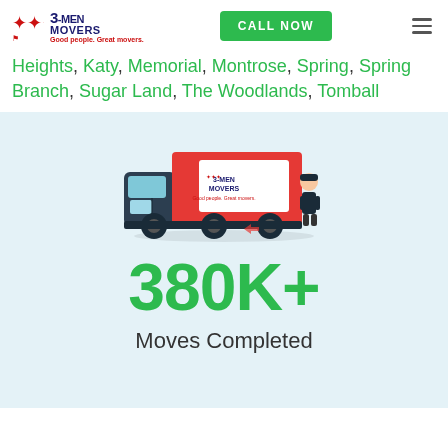3-MEN MOVERS — Good people. Great movers. | CALL NOW
Heights, Katy, Memorial, Montrose, Spring, Spring Branch, Sugar Land, The Woodlands, Tomball
[Figure (illustration): 3 Men Movers branded red moving truck with a person standing beside it, on a light blue background]
380K+
Moves Completed